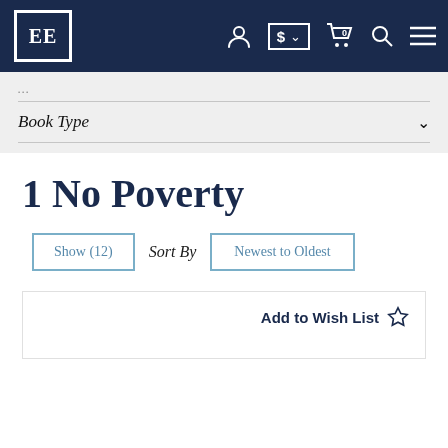EE [logo] — navigation bar with user, currency ($), cart (0), search, menu icons
Book Type
1 No Poverty
Show (12)   Sort By   Newest to Oldest
Add to Wish List ☆